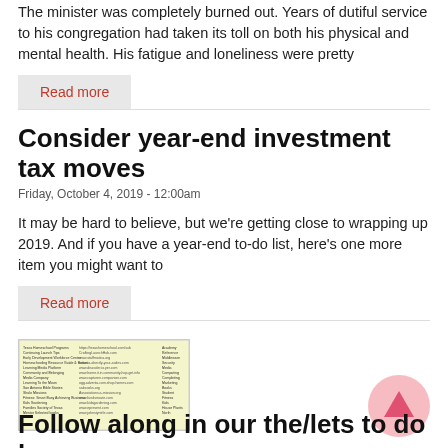The minister was completely burned out. Years of dutiful service to his congregation had taken its toll on both his physical and mental health. His fatigue and loneliness were pretty
Read more
Consider year-end investment tax moves
Friday, October 4, 2019 - 12:00am
It may be hard to believe, but we're getting close to wrapping up 2019. And if you have a year-end to-do list, here's one more item you might want to
Read more
[Figure (table-as-image): Small thumbnail image showing a table/list of program resources with URLs]
Follow along in our the/lets to do b